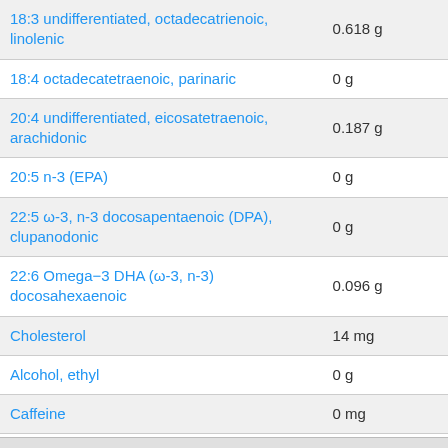| Nutrient | Amount |
| --- | --- |
| 18:3 undifferentiated, octadecatrienoic, linolenic | 0.618 g |
| 18:4 octadecatetraenoic, parinaric | 0 g |
| 20:4 undifferentiated, eicosatetraenoic, arachidonic | 0.187 g |
| 20:5 n-3 (EPA) | 0 g |
| 22:5 ω-3, n-3 docosapentaenoic (DPA), clupanodonic | 0 g |
| 22:6 Omega−3 DHA (ω-3, n-3) docosahexaenoic | 0.096 g |
| Cholesterol | 14 mg |
| Alcohol, ethyl | 0 g |
| Caffeine | 0 mg |
| Theobromine | 0 mg |
Nutrients in Infant formula, ABBOTT NUTRITION, SIMILAC, ADVANCE, with iron, powder, not reconstituted